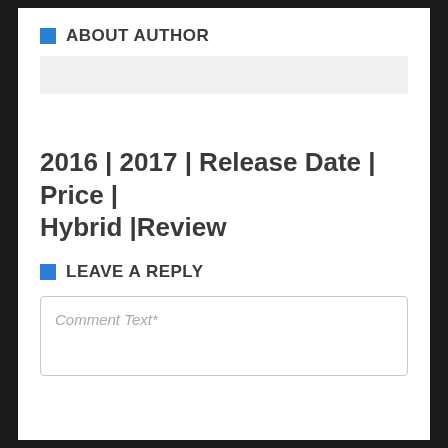ABOUT AUTHOR
[Figure (other): Gray placeholder box for author content]
2016 | 2017 | Release Date | Price | Hybrid |Review
LEAVE A REPLY
Comment Text*